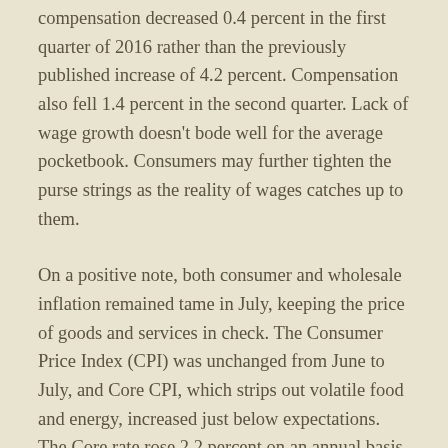compensation decreased 0.4 percent in the first quarter of 2016 rather than the previously published increase of 4.2 percent. Compensation also fell 1.4 percent in the second quarter. Lack of wage growth doesn’t bode well for the average pocketbook. Consumers may further tighten the purse strings as the reality of wages catches up to them.
On a positive note, both consumer and wholesale inflation remained tame in July, keeping the price of goods and services in check. The Consumer Price Index (CPI) was unchanged from June to July, and Core CPI, which strips out volatile food and energy, increased just below expectations. The Core rate rose 2.2 percent on an annual basis, just below the 2.3 percent recorded in June. The Producer Price Index (PPI) and Core PPI both saw declines.
Besides being a gauge of price stability, inflation reduces